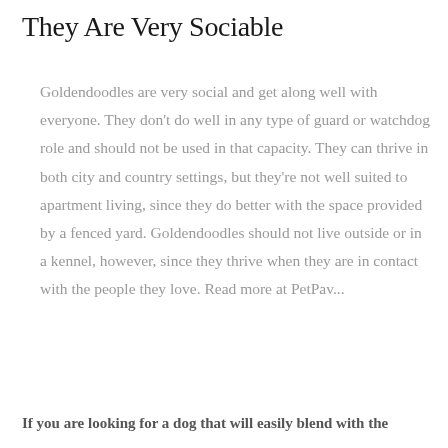They Are Very Sociable
Goldendoodles are very social and get along well with everyone. They don't do well in any type of guard or watchdog role and should not be used in that capacity. They can thrive in both city and country settings, but they're not well suited to apartment living, since they do better with the space provided by a fenced yard. Goldendoodles should not live outside or in a kennel, however, since they thrive when they are in contact with the people they love. Read more at PetPav...
If you are looking for a dog that will easily blend with the